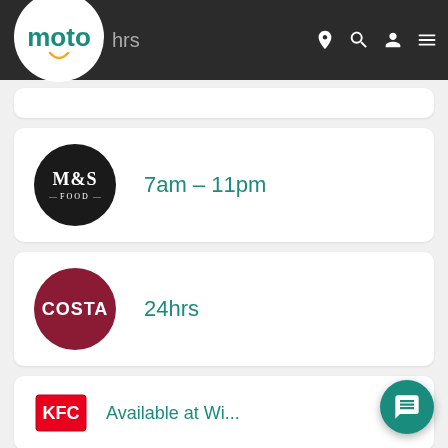[Figure (logo): Moto motorway services logo - white circle with teal 'moto' text and yellow smile]
hrs
M&S Food — 7am – 11pm
Costa — 24hrs
KFC — Available at... (partial)